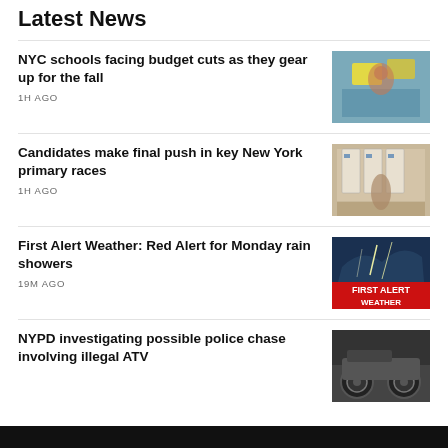Latest News
NYC schools facing budget cuts as they gear up for the fall
1H AGO
[Figure (photo): Photo related to NYC schools budget cuts]
Candidates make final push in key New York primary races
1H AGO
[Figure (photo): Photo of voting booths in a library]
First Alert Weather: Red Alert for Monday rain showers
19M AGO
[Figure (photo): First Alert Weather graphic with lightning and red/white text]
NYPD investigating possible police chase involving illegal ATV
[Figure (photo): Photo of an ATV or vehicle tires]